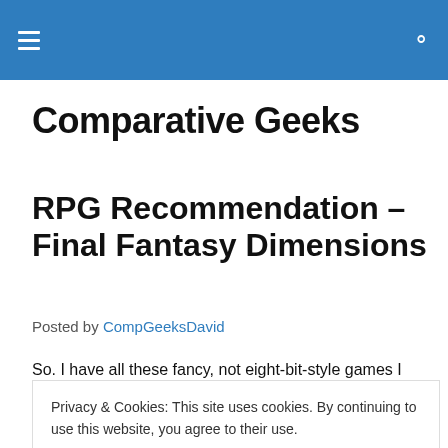Comparative Geeks — navigation bar with hamburger menu and search icon
Comparative Geeks
RPG Recommendation – Final Fantasy Dimensions
Posted by CompGeeksDavid
So. I have all these fancy, not eight-bit-style games I could
Privacy & Cookies: This site uses cookies. By continuing to use this website, you agree to their use. To find out more, including how to control cookies, see here: Cookie Policy
myself.